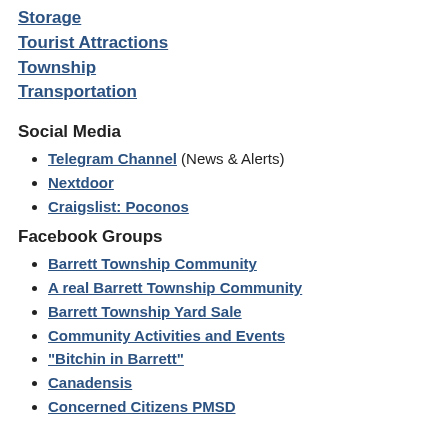Storage
Tourist Attractions
Township
Transportation
Social Media
Telegram Channel (News & Alerts)
Nextdoor
Craigslist: Poconos
Facebook Groups
Barrett Township Community
A real Barrett Township Community
Barrett Township Yard Sale
Community Activities and Events
"Bitchin in Barrett"
Canadensis
Concerned Citizens PMSD